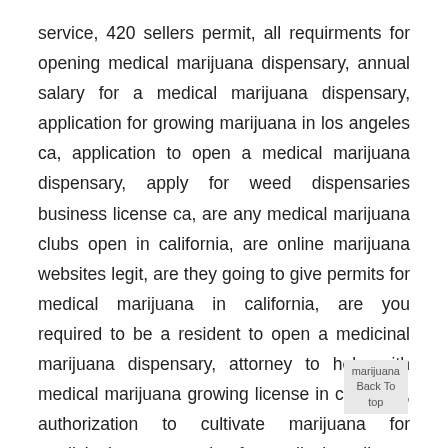service, 420 sellers permit, all requirments for opening medical marijuana dispensary, annual salary for a medical marijuana dispensary, application for growing marijuana in los angeles ca, application to open a medical marijuana dispensary, apply for weed dispensaries business license ca, are any medical marijuana clubs open in california, are online marijuana websites legit, are they going to give permits for medical marijuana in california, are you required to be a resident to open a medicinal marijuana dispensary, attorney to help with medical marijuana growing license in california, authorization to cultivate marijuana for medicinal, average price for medical marijuana lawyer, bakersfield california prop 215, becoming a medical marijuana grower in california, best cannabis college in california,